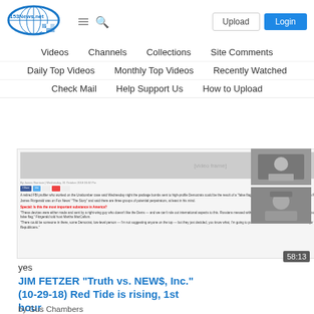[Figure (screenshot): 153News.net website header with logo, hamburger menu, search icon, Upload button, and Login button]
Videos
Channels
Collections
Site Comments
Daily Top Videos
Monthly Top Videos
Recently Watched
Check Mail
Help Support Us
How to Upload
[Figure (screenshot): Screenshot of a news article about FBI profiler commenting on pipe bombs sent to Democrats possibly being a false flag operation to hurt the Republican Party. Article from foxnews-style page.]
[Figure (photo): Side thumbnail photos of two individuals]
58:13
yes
JIM FETZER "Truth vs. NEW$, Inc." (10-29-18) Red Tide is rising, 1st hour
by Gus Chambers